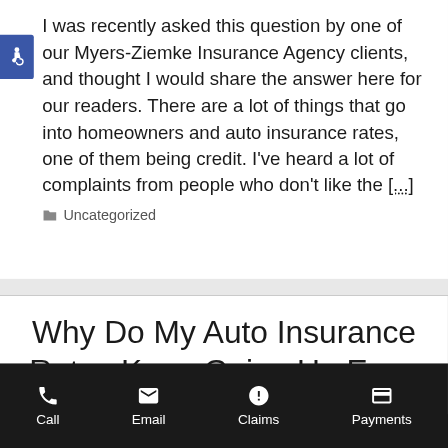I was recently asked this question by one of our Myers-Ziemke Insurance Agency clients, and thought I would share the answer here for our readers. There are a lot of things that go into homeowners and auto insurance rates, one of them being credit. I've heard a lot of complaints from people who don't like the [...]
Uncategorized
Why Do My Auto Insurance Rates Keep Going Up Even Though My Car Keeps Getti...
Call | Email | Claims | Payments